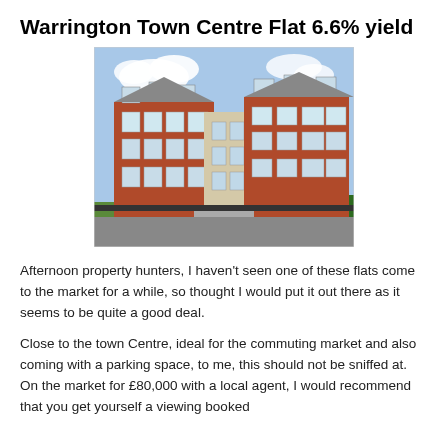Warrington Town Centre Flat 6.6% yield
[Figure (photo): Exterior photograph of a multi-storey red brick residential apartment building with white-framed windows and grey dormer roof features, with green hedging and paving in the foreground and a blue sky with clouds in the background.]
Afternoon property hunters, I haven't seen one of these flats come to the market for a while, so thought I would put it out there as it seems to be quite a good deal.
Close to the town Centre, ideal for the commuting market and also coming with a parking space, to me, this should not be sniffed at. On the market for £80,000 with a local agent, I would recommend that you get yourself a viewing booked